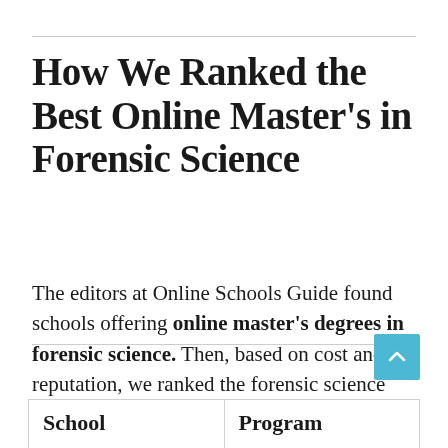How We Ranked the Best Online Master's in Forensic Science
The editors at Online Schools Guide found schools offering online master's degrees in forensic science. Then, based on cost and reputation, we ranked the forensic science programs.
| School | Program |
| --- | --- |